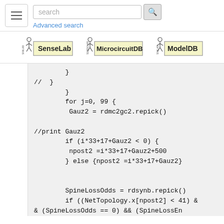[Figure (screenshot): Navigation header with hamburger menu, search box with search button, and Advanced search link]
[Figure (logo): Three logos: SenseLab, MicrocircuitDB, ModelDB]
}
//   }
        }
        for j=0, 99 {
         Gauz2 = rdmc2gc2.repick()

//print Gauz2
        if (i*33+17+Gauz2 < 0) {
         npost2 =i*33+17+Gauz2+500
        } else {npost2 =i*33+17+Gauz2}


        SpineLossOdds = rdsynb.repick()
        if ((NetTopology.x[npost2] < 41) &
& (SpineLossOdds == 0) && (SpineLossEn
able == 1)) {
            j -= 1
            contador2b += 1
            print "contador2b ", contador2b,